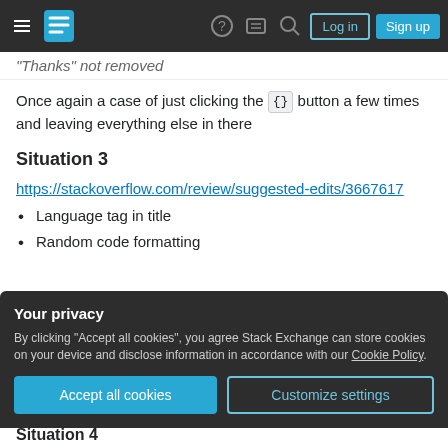Stack Exchange navigation bar with hamburger menu, logo, help, chat, search icons, Log in and Sign up buttons
"Thanks" not removed
Once again a case of just clicking the {} button a few times and leaving everything else in there
Situation 3
https://stackoverflow.com/review/suggested-edits/3667617
Language tag in title
Random code formatting
Your privacy
By clicking "Accept all cookies", you agree Stack Exchange can store cookies on your device and disclose information in accordance with our Cookie Policy.
Situation 4